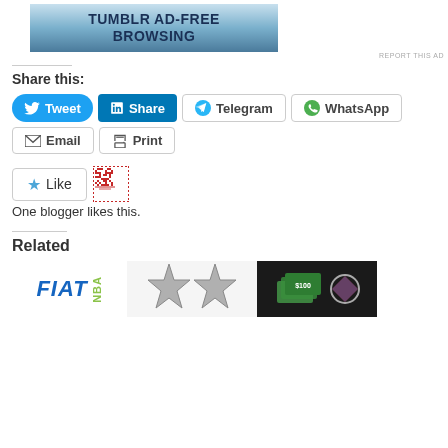[Figure (other): Tumblr Ad-Free Browsing advertisement banner with blue gradient background]
REPORT THIS AD
Share this:
Tweet
Share
Telegram
WhatsApp
Email
Print
Like
One blogger likes this.
Related